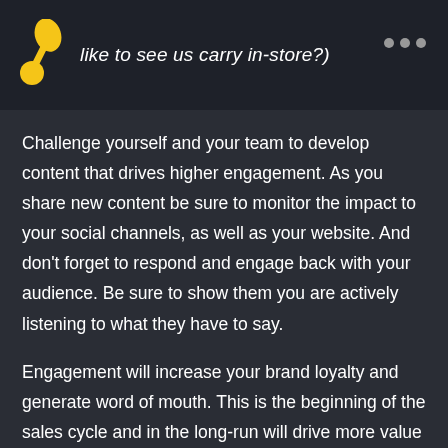like to see us carry in-store?)
Challenge yourself and your team to develop content that drives higher engagement. As you share new content be sure to monitor the impact to your social channels, as well as your website. And don’t forget to respond and engage back with your audience. Be sure to show them you are actively listening to what they have to say.
Engagement will increase your brand loyalty and generate word of mouth. This is the beginning of the sales cycle and in the long-run will drive more value for your brand, so don’t underestimate the power of social media engagement.